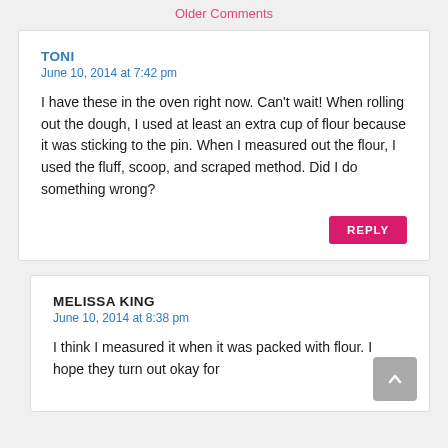Older Comments
TONI
June 10, 2014 at 7:42 pm
I have these in the oven right now. Can't wait! When rolling out the dough, I used at least an extra cup of flour because it was sticking to the pin. When I measured out the flour, I used the fluff, scoop, and scraped method. Did I do something wrong?
REPLY
MELISSA KING
June 10, 2014 at 8:38 pm
I think I measured it when it was packed with flour. I hope they turn out okay for